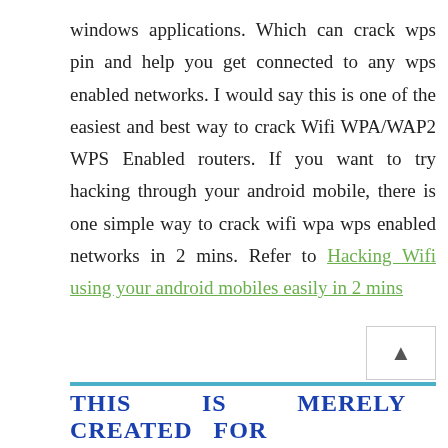windows applications. Which can crack wps pin and help you get connected to any wps enabled networks. I would say this is one of the easiest and best way to crack Wifi WPA/WAP2 WPS Enabled routers. If you want to try hacking through your android mobile, there is one simple way to crack wifi wpa wps enabled networks in 2 mins. Refer to Hacking Wifi using your android mobiles easily in 2 mins
THIS IS MERELY CREATED FOR